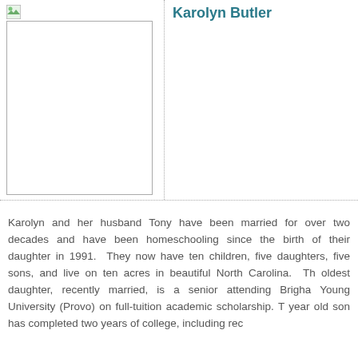Karolyn Butler
[Figure (photo): Portrait photo placeholder (broken image icon shown, white rectangle bordered)]
Karolyn and her husband Tony have been married for over two decades and have been homeschooling since the birth of their daughter in 1991.  They now have ten children, five daughters, five sons, and live on ten acres in beautiful North Carolina.  The oldest daughter, recently married, is a senior attending Brigham Young University (Provo) on full-tuition academic scholarship. The year old son has completed two years of college, including rec